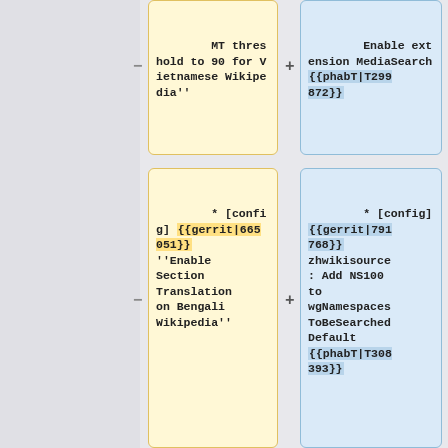− MT threshold to 90 for Vietnamese Wikipedia''
+ Enable extension MediaSearch {{phabT|T299872}}
− * [config] {{gerrit|665051}} ''Enable Section Translation on Bengali Wikipedia''
+ * [config] {{gerrit|791768}} zhwikisource: Add NS100 to wgNamespacesToBeSearchedDefault {{phabT|T308393}}
{{ircnick|Urbanecm|Martin}}
+ * [config] {{gerrit|791749}} thwikibooks: